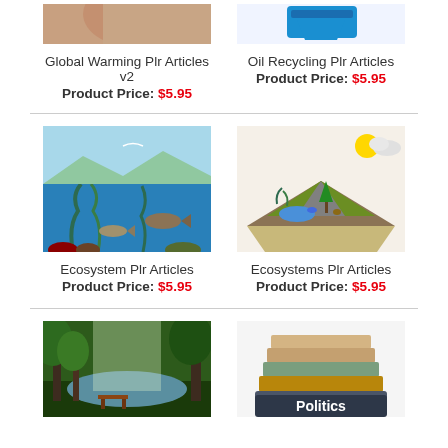[Figure (photo): Partial top image for Global Warming PLR Articles v2]
Global Warming Plr Articles v2
Product Price: $5.95
[Figure (logo): Partial top image for Oil Recycling PLR Articles]
Oil Recycling Plr Articles
Product Price: $5.95
[Figure (photo): Ecosystem PLR Articles product image showing underwater ocean scene]
Ecosystem Plr Articles
Product Price: $5.95
[Figure (illustration): Ecosystems PLR Articles product image showing 3D terrain/ecosystem diagram]
Ecosystems Plr Articles
Product Price: $5.95
[Figure (photo): Nature/forest scene with lake and bench]
[Figure (photo): Stack of books with Politics label]